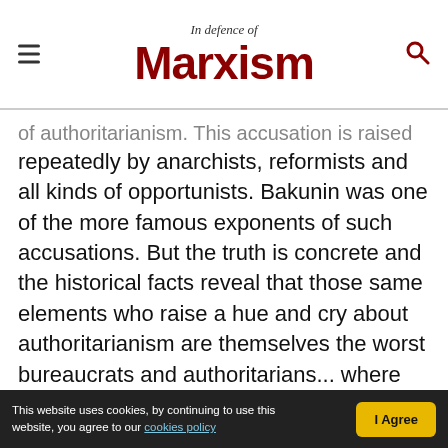In Defence of Marxism
of authoritarianism. This accusation is raised repeatedly by anarchists, reformists and all kinds of opportunists. Bakunin was one of the more famous exponents of such accusations. But the truth is concrete and the historical facts reveal that those same elements who raise a hue and cry about authoritarianism are themselves the worst bureaucrats and authoritarians... where they manage to rule the roost.
“For the rest, old Hegel has already said: A party proves itself a victorious party by the fact that it splits and can stand the split.” (Engels to Bebel, 20 June, 1873)
This website uses cookies, by continuing to use this website, you agree to our cookies policy  I Agree